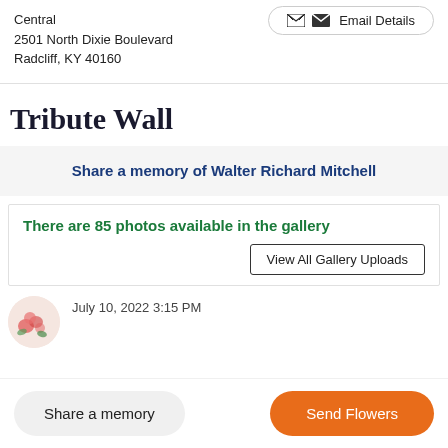Central
2501 North Dixie Boulevard
Radcliff, KY 40160
Email Details
Tribute Wall
Share a memory of Walter Richard Mitchell
There are 85 photos available in the gallery
View All Gallery Uploads
July 10, 2022 3:15 PM
Share a memory
Send Flowers